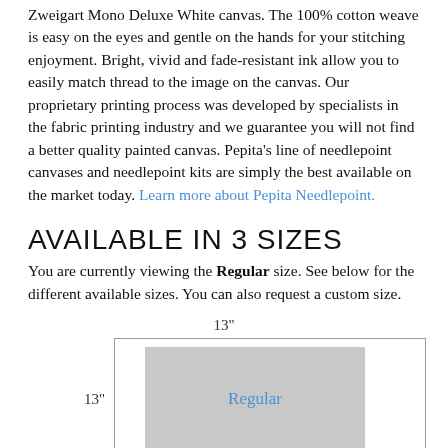Zweigart Mono Deluxe White canvas. The 100% cotton weave is easy on the eyes and gentle on the hands for your stitching enjoyment. Bright, vivid and fade-resistant ink allow you to easily match thread to the image on the canvas. Our proprietary printing process was developed by specialists in the fabric printing industry and we guarantee you will not find a better quality painted canvas. Pepita's line of needlepoint canvases and needlepoint kits are simply the best available on the market today. Learn more about Pepita Needlepoint.
AVAILABLE IN 3 SIZES
You are currently viewing the Regular size. See below for the different available sizes. You can also request a custom size.
[Figure (schematic): Diagram showing a rectangular outer box labeled 13" wide at the top and 13" tall on the left side, containing a grey inner rectangle labeled 'Regular' in blue text, representing a needlepoint canvas size.]